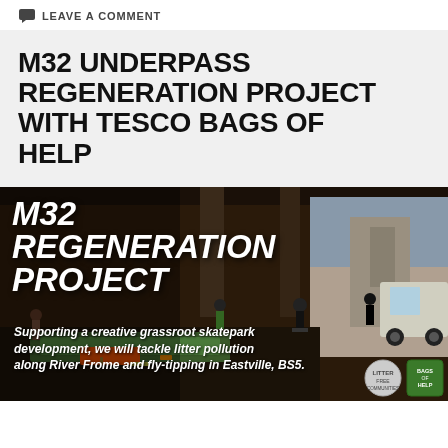LEAVE A COMMENT
M32 UNDERPASS REGENERATION PROJECT WITH TESCO BAGS OF HELP
[Figure (photo): M32 Regeneration Project promotional image showing a skatepark underpass scene with skaters, graffiti elements, and text overlays reading 'M32 REGENERATION PROJECT' and 'Supporting a creative grassroot skatepark development, we will tackle litter pollution along River Frome and fly-tipping in Eastville, BS5.' with Litter and Bags of Help logos.]